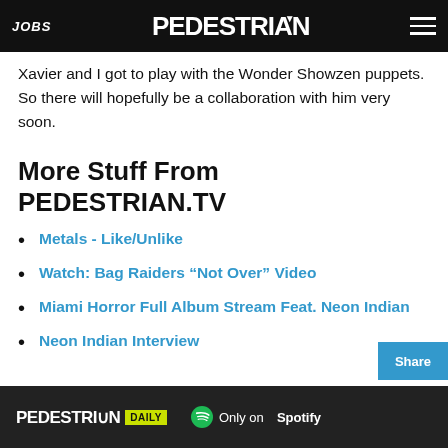JOBS | PEDESTRIAN | ≡
Xavier and I got to play with the Wonder Showzen puppets. So there will hopefully be a collaboration with him very soon.
More Stuff From PEDESTRIAN.TV
Metals - Like/Unlike
Watch: Bag Raiders “Not Over” Video
Miami Horror Full Album Stream Feat. Neon Indian
Neon Indian Interview
[Figure (logo): PEDESTRIAN DAILY - Only on Spotify footer advertisement bar]